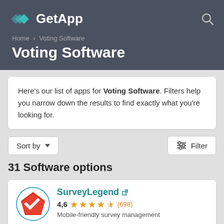GetApp
Home › Voting Software
Voting Software
Here's our list of apps for Voting Software. Filters help you narrow down the results to find exactly what you're looking for.
Sort by ▼  Filter
31 Software options
SurveyLegend ↗  4,6 ★★★★½ (698)  Mobile-friendly survey management